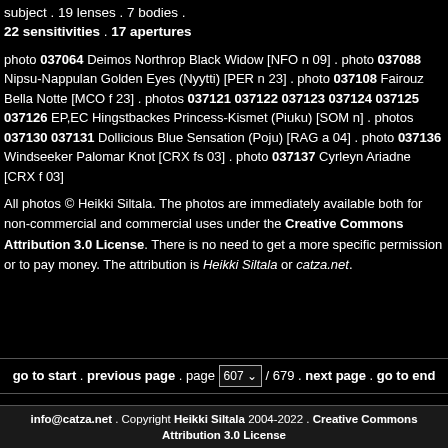subject . 19 lenses . 7 bodies . 22 sensitivities . 17 apertures
photo 037064 Deimos Northrop Black Widow [NFO n 09] . photo 037088 Nipsu-Nappulan Golden Eyes (Nyytti) [PER n 23] . photo 037108 Fairouz Bella Notte [MCO f 23] . photos 037121 037122 037123 037124 037125 037126 EP,EC Hingstbackes Princess-Kismet (Piuku) [SOM n] . photos 037130 037131 Dollicious Blue Sensation (Poju) [RAG a 04] . photo 037136 Windseeker Palomar Knot [CRX fs 03] . photo 037137 Cyrleyn Ariadne [CRX f 03]
All photos © Heikki Siltala. The photos are immediately available both for non-commercial and commercial uses under the Creative Commons Attribution 3.0 License. There is no need to get a more specific permission or to pay money. The attribution is Heikki Siltala or catza.net.
go to start . previous page . page 607 / 679 . next page . go to end
info@catza.net . Copyright Heikki Siltala 2004-2022 . Creative Commons Attribution 3.0 License